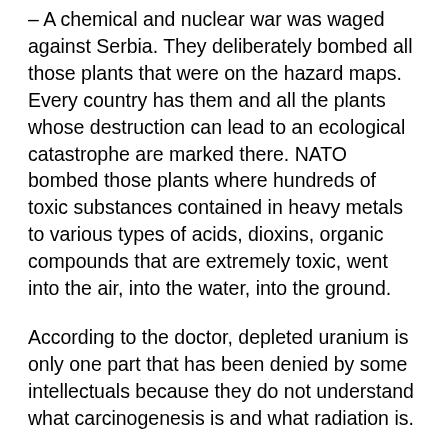– A chemical and nuclear war was waged against Serbia. They deliberately bombed all those plants that were on the hazard maps. Every country has them and all the plants whose destruction can lead to an ecological catastrophe are marked there. NATO bombed those plants where hundreds of toxic substances contained in heavy metals to various types of acids, dioxins, organic compounds that are extremely toxic, went into the air, into the water, into the ground.
According to the doctor, depleted uranium is only one part that has been denied by some intellectuals because they do not understand what carcinogenesis is and what radiation is.
– When you measure radiation where depleted uranium is targeted, you will not measure any increased radiation. When the southern part of central Serbia was cleaned, our people found radiation that was around the natural...